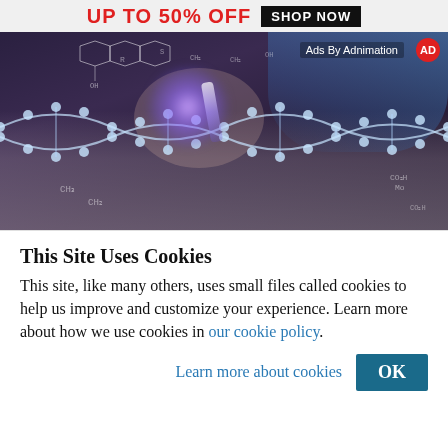[Figure (screenshot): Ad banner at top with red bold text 'UP TO 50% OFF' and dark 'SHOP NOW' button]
[Figure (photo): Science/medical advertisement image showing a person in lab coat and safety goggles holding a glowing vial near a DNA double helix structure, with chemical formulas overlaid. Text 'Ads By Adnimation' with red circle icon in top right corner.]
This Site Uses Cookies
This site, like many others, uses small files called cookies to help us improve and customize your experience. Learn more about how we use cookies in our cookie policy.
Learn more about cookies
OK